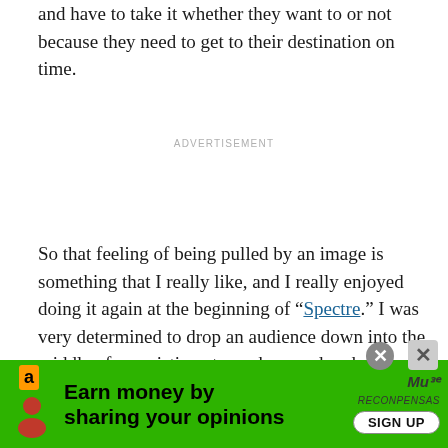and have to take it whether they want to or not because they need to get to their destination on time.
ADVERTISEMENT
So that feeling of being pulled by an image is something that I really like, and I really enjoyed doing it again at the beginning of “Spectre.” I was very determined to drop an audience down into the middle of an existing atmosphere and make them try to find their own way through it. You watch it and think, ‘Which one is Bond? Oh that’s probably him. Yes it is! Where’s he going? Who’s the woman? Where are we?’ etc. That is exciting
[Figure (screenshot): Green advertisement banner at the bottom: Earn money by sharing your opinions, with Amazon logo, illustrated figure, Multo Reconpensas branding, and SIGN UP button. Close buttons visible in top right of banner area.]